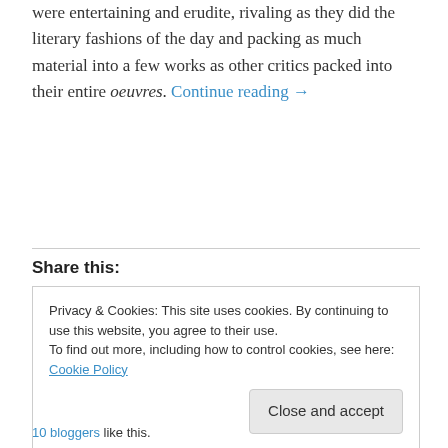were entertaining and erudite, rivaling as they did the literary fashions of the day and packing as much material into a few works as other critics packed into their entire oeuvres. Continue reading →
Share this:
Privacy & Cookies: This site uses cookies. By continuing to use this website, you agree to their use.
To find out more, including how to control cookies, see here: Cookie Policy
[Close and accept]
10 bloggers like this.